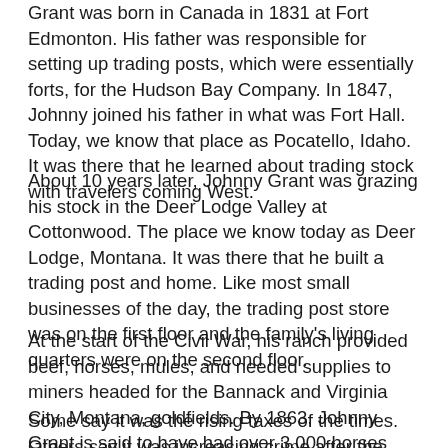Grant was born in Canada in 1831 at Fort Edmonton. His father was responsible for setting up trading posts, which were essentially forts, for the Hudson Bay Company. In 1847, Johnny joined his father in what was Fort Hall. Today, we know that place as Pocatello, Idaho. It was there that he learned about trading stock with travelers coming West.
About 10 years later, Johnny Grant was grazing his stock in the Deer Lodge Valley at Cottonwood. The place we know today as Deer Lodge, Montana. It was there that he built a trading post and home. Like most small businesses of the day, the trading post store was on the first floor and the family's living quarters were on the second floor.
At the start of the Civil War, his ranch provided beef, horses, mules, and needed supplies to miners headed for the Bannack and Virginia City, Montana, goldfields. By 1863, Johnny Grant is said to have had over 3,000 horses and over 3,500 head of cattle on his ranch.
Some say it was the rising taxes of the times. Others say it was increasing crime after the Civil War that made him sell out. And yes, there are those who have written to say that he